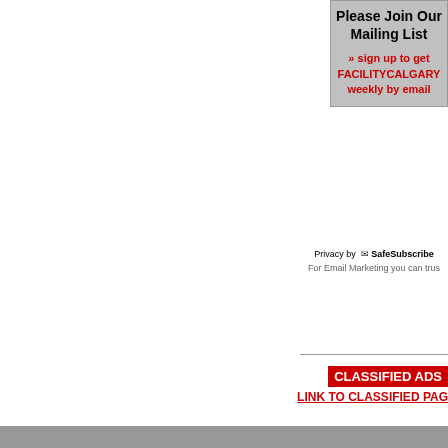[Figure (infographic): Mailing list signup box with gray background. Title: Please Join Our Mailing List. Red text: sign up to get FACILITYCALGARY weekly by email]
Privacy by SafeSubscribe. For Email Marketing you can trust
CLASSIFIED ADS
LINK TO CLASSIFIED PAGE
[Figure (logo): PLANDflex CORPORATION logo on blue background]
PLANDflex CORPORATION PROJECT MANAGER / P3 PUBLISHER
© 1999-2022 published by MaxComm Communications a u FACILITYCalgary newsletters may not be reproduced, distributed, transmitted, dis any medium without prior written permission. All rights reserved. PLANDflex Corpora